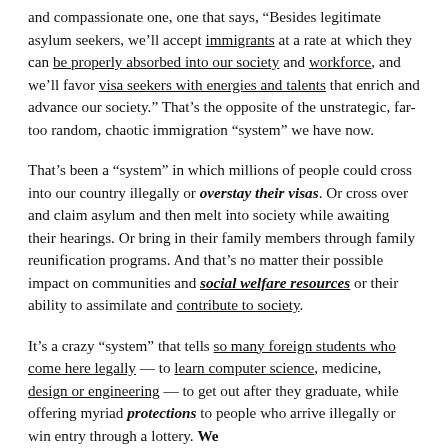and compassionate one, one that says, “Besides legitimate asylum seekers, we’ll accept immigrants at a rate at which they can be properly absorbed into our society and workforce, and we’ll favor visa seekers with energies and talents that enrich and advance our society.” That’s the opposite of the unstrategic, far-too random, chaotic immigration “system” we have now.
That’s been a “system” in which millions of people could cross into our country illegally or overstay their visas. Or cross over and claim asylum and then melt into society while awaiting their hearings. Or bring in their family members through family reunification programs. And that’s no matter their possible impact on communities and social welfare resources or their ability to assimilate and contribute to society.
It’s a crazy “system” that tells so many foreign students who come here legally — to learn computer science, medicine, design or engineering — to get out after they graduate, while offering myriad protections to people who arrive illegally or win entry through a lottery. We